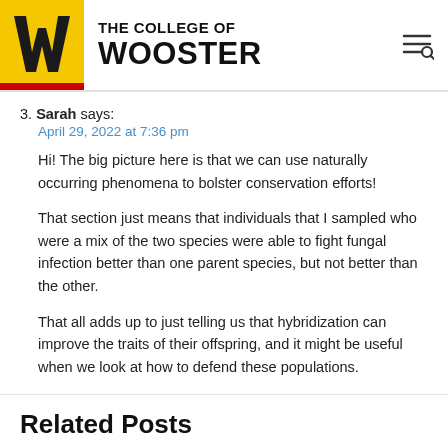THE COLLEGE OF WOOSTER
3. Sarah says:
April 29, 2022 at 7:36 pm

Hi! The big picture here is that we can use naturally occurring phenomena to bolster conservation efforts!

That section just means that individuals that I sampled who were a mix of the two species were able to fight fungal infection better than one parent species, but not better than the other.

That all adds up to just telling us that hybridization can improve the traits of their offspring, and it might be useful when we look at how to defend these populations.
Related Posts